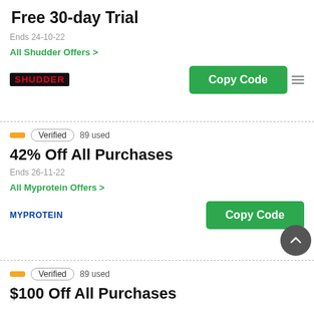Free 30-day Trial
Ends 24-10-22
All Shudder Offers >
[Figure (logo): Shudder logo — white text on black background]
Copy Code
Verified  89 used
42% Off All Purchases
Ends 26-11-22
All Myprotein Offers >
[Figure (logo): MYPROTEIN logo in dark blue bold uppercase text]
Copy Code
Verified  89 used
$100 Off All Purchases